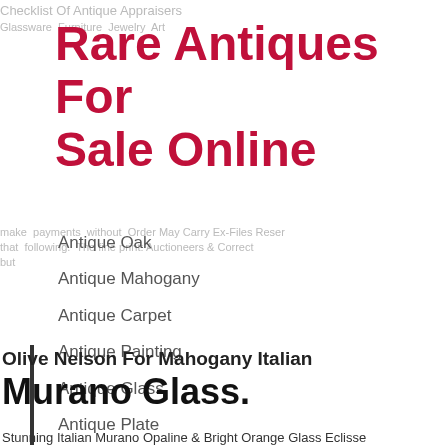Rare Antiques For Sale Online
Antique Oak
Antique Mahogany
Antique Carpet
Antique Painting
Antique Glass
Antique Plate
Olive Nelson For Mahogany Italian Murano Glass.
Stunning Italian Murano Opaline & Bright Orange Glass Eclisse